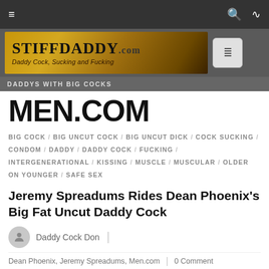Navigation bar with menu icon, search icon, RSS icon
[Figure (logo): StiffDaddy.com banner logo with subtitle 'Daddy Cock, Sucking and Fucking']
DADDYS WITH BIG COCKS
MEN.COM
BIG COCK / BIG UNCUT COCK / BIG UNCUT DICK / COCK SUCKING / CONDOM / DADDY / DADDY COCK / FUCKING / INTERGENERATIONAL / KISSING / MUSCLE / MUSCULAR / OLDER ON YOUNGER / SAFE SEX
Jeremy Spreadums Rides Dean Phoenix's Big Fat Uncut Daddy Cock
Daddy Cock Don
Dean Phoenix, Jeremy Spreadums, Men.com | 0 Comment
May 4, 2018